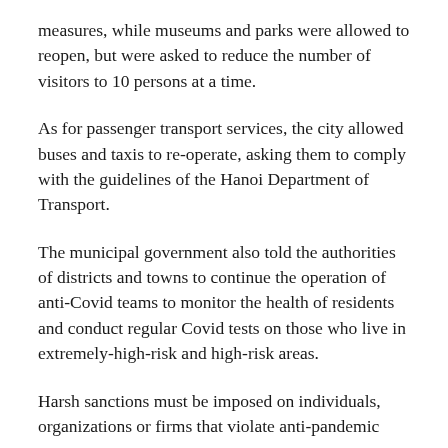measures, while museums and parks were allowed to reopen, but were asked to reduce the number of visitors to 10 persons at a time.
As for passenger transport services, the city allowed buses and taxis to re-operate, asking them to comply with the guidelines of the Hanoi Department of Transport.
The municipal government also told the authorities of districts and towns to continue the operation of anti-Covid teams to monitor the health of residents and conduct regular Covid tests on those who live in extremely-high-risk and high-risk areas.
Harsh sanctions must be imposed on individuals, organizations or firms that violate anti-pandemic measures.